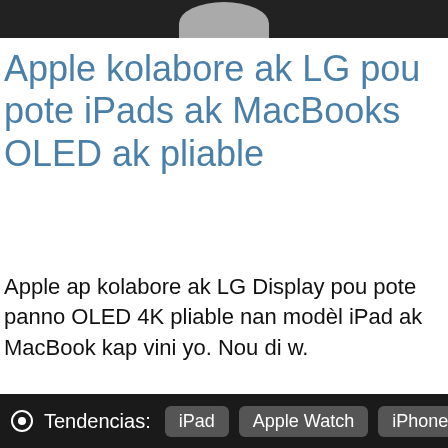[Figure (photo): Top portion of a dark background image showing the bottom of a rounded gray shape, likely part of a device or logo.]
Apple kolabore ak LG pou pote iPads ak MacBooks OLED ak pliable
Apple ap kolabore ak LG Display pou pote panno OLED 4K pliable nan modèl iPad ak MacBook kap vini yo. Nou di w.
Tendencias: iPad  Apple Watch  iPhone 14  yo